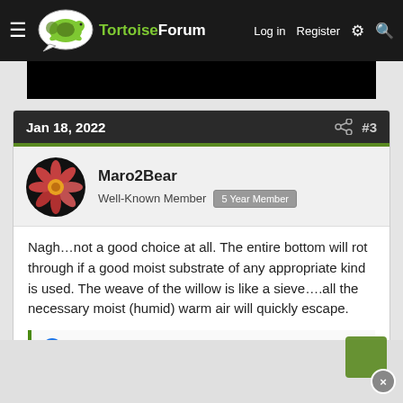TortoiseForum — Log in  Register
Jan 18, 2022  #3
Maro2Bear
Well-Known Member  5 Year Member
Nagh…not a good choice at all. The entire bottom will rot through if a good moist substrate of any appropriate kind is used. The weave of the willow is like a sieve….all the necessary moist (humid) warm air will quickly escape.
wellington and DoubleD1996!